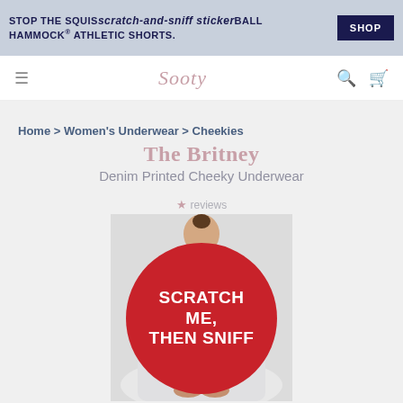STOP THE SQUISH scratch-and-sniff sticker BALL HAMMOCK® ATHLETIC SHORTS.
[Figure (screenshot): Screenshot of a shopping website (Saxx/Saucity style) showing a product page for 'The Britney Denim Printed Cheeky Underwear' with a man figure facing back, overlaid by a large red circular sticker reading 'SCRATCH ME, THEN SNIFF']
Home > Women's Underwear > Cheekies
The Britney
Denim Printed Cheeky Underwear
★ reviews
[Figure (other): Large red circle sticker overlaid on product image reading 'SCRATCH ME, THEN SNIFF' in bold white uppercase text]